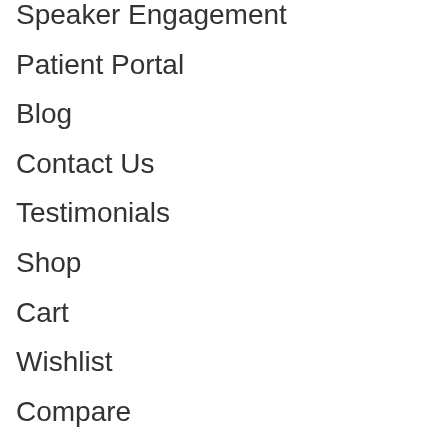Speaker Engagement
Patient Portal
Blog
Contact Us
Testimonials
Shop
Cart
Wishlist
Compare
Login / Register
My Account